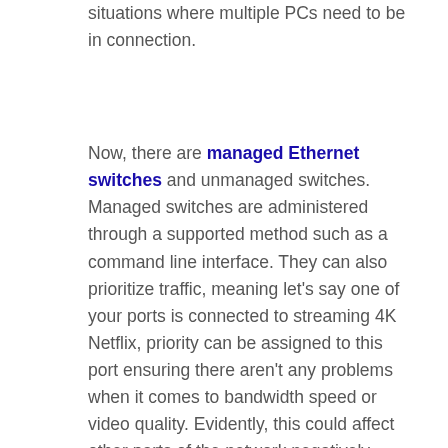situations where multiple PCs need to be in connection.
Now, there are managed Ethernet switches and unmanaged switches. Managed switches are administered through a supported method such as a command line interface. They can also prioritize traffic, meaning let's say one of your ports is connected to streaming 4K Netflix, priority can be assigned to this port ensuring there aren't any problems when it comes to bandwidth speed or video quality. Evidently, this could affect other parts of the network negatively.